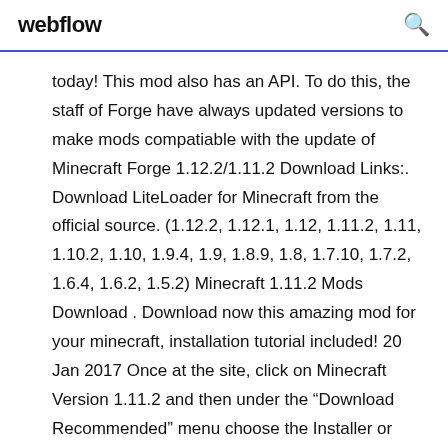webflow
today! This mod also has an API. To do this, the staff of Forge have always updated versions to make mods compatiable with the update of Minecraft Forge 1.12.2/1.11.2 Download Links:. Download LiteLoader for Minecraft from the official source. (1.12.2, 1.12.1, 1.12, 1.11.2, 1.11, 1.10.2, 1.10, 1.9.4, 1.9, 1.8.9, 1.8, 1.7.10, 1.7.2, 1.6.4, 1.6.2, 1.5.2) Minecraft 1.11.2 Mods Download . Download now this amazing mod for your minecraft, installation tutorial included! 20 Jan 2017 Once at the site, click on Minecraft Version 1.11.2 and then under the “Download Recommended” menu choose the Installer or Installer-Win